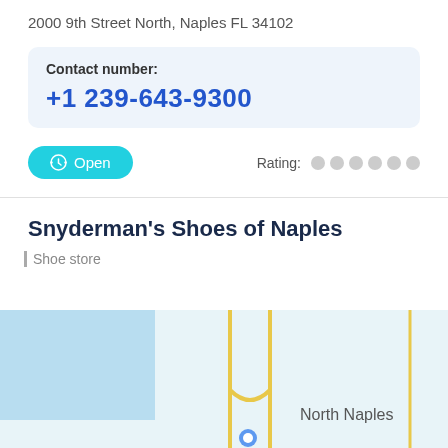2000 9th Street North, Naples FL 34102
Contact number: +1 239-643-9300
Open
Rating:
Snyderman's Shoes of Naples
Shoe store
[Figure (map): Map showing North Naples area with road lines and a blue location marker]